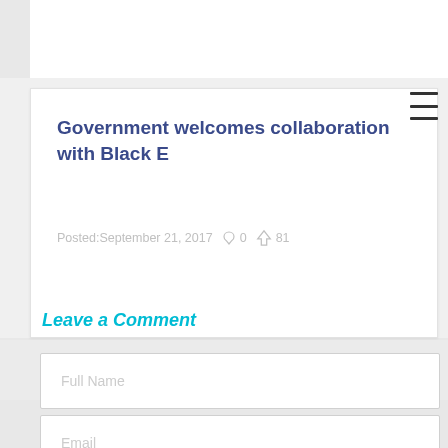Government welcomes collaboration with Black E
Posted: September 21, 2017  ○ 0  👍 81
Leave a Comment
Full Name
Email